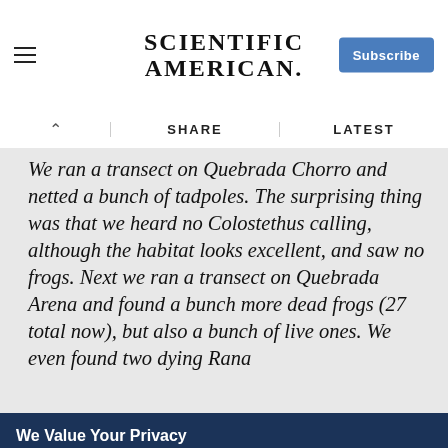SCIENTIFIC AMERICAN
We ran a transect on Quebrada Chorro and netted a bunch of tadpoles. The surprising thing was that we heard no Colostethus calling, although the habitat looks excellent, and saw no frogs. Next we ran a transect on Quebrada Arena and found a bunch more dead frogs (27 total now), but also a bunch of live ones. We even found two dying Rana
We Value Your Privacy
We use cookies to enhance site navigation, analyze site usage & personalize content to provide social media features and to improve our marketing efforts. We also share information about your use of our site with our social media, advertising and analytics partners. To opt out of website cookies or otherwise manage your cookie settings, click on Cookie Settings. View O